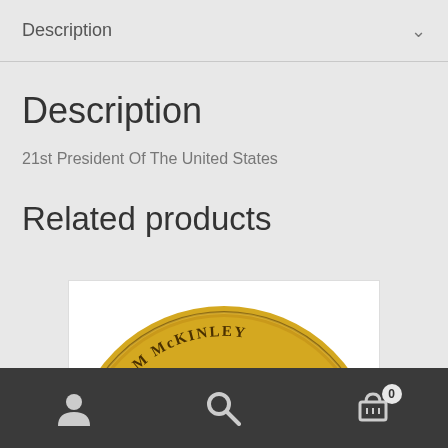Description
Description
21st President Of The United States
Related products
[Figure (photo): Gold William McKinley presidential dollar coin showing portrait with inscription WILLIAM McKINLEY]
Navigation bar with user icon, search icon, and cart icon showing 0 items